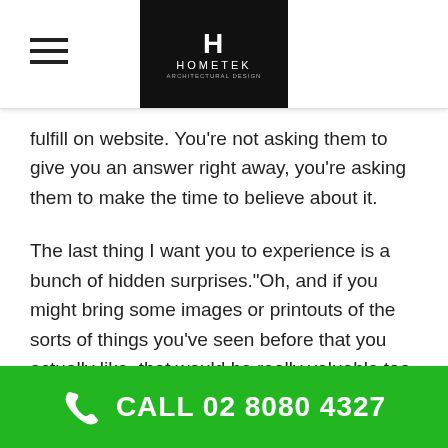Hometek
fulfill on website. You’re not asking them to give you an answer right away, you’re asking them to make the time to believe about it.
The last thing I want you to experience is a bunch of hidden surprises.“Oh, and if you might bring some images or printouts of the sorts of things you’ve seen before that you actually like, that would be really valuable too.
Related posts:
[Figure (photo): Preview card for a related blog post with a building photo, five blue stars, and text 'The Cost of Extension Per Square Metre']
CALL 02 8080 4327